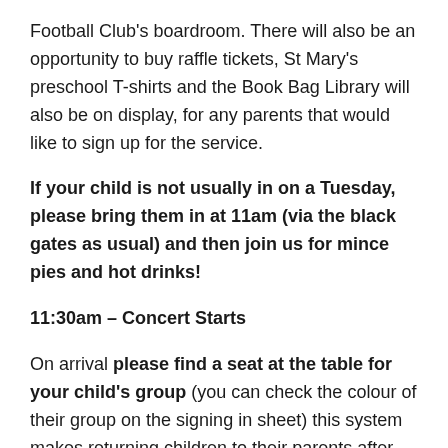Football Club's boardroom. There will also be an opportunity to buy raffle tickets, St Mary's preschool T-shirts and the Book Bag Library will also be on display, for any parents that would like to sign up for the service.
If your child is not usually in on a Tuesday, please bring them in at 11am (via the black gates as usual) and then join us for mince pies and hot drinks!
11:30am – Concert Starts
On arrival please find a seat at the table for your child's group (you can check the colour of their group on the signing in sheet) this system makes returning children to their parents after the performance much smoother – thank you.
The Raffle will be drawn after the performance, before we